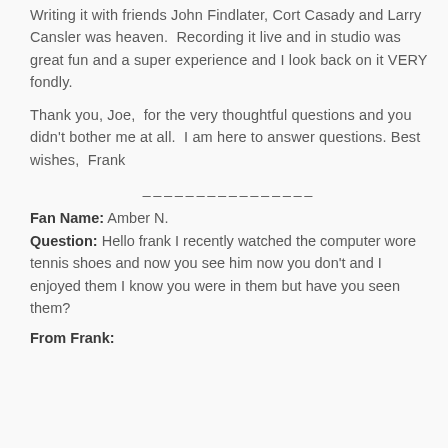Writing it with friends John Findlater, Cort Casady and Larry Cansler was heaven.  Recording it live and in studio was great fun and a super experience and I look back on it VERY fondly.
Thank you, Joe,  for the very thoughtful questions and you didn't bother me at all.  I am here to answer questions.  Best wishes,  Frank
Fan Name: Amber N.
Question: Hello frank I recently watched the computer wore tennis shoes and now you see him now you don't and I enjoyed them I know you were in them but have you seen them?
From Frank: